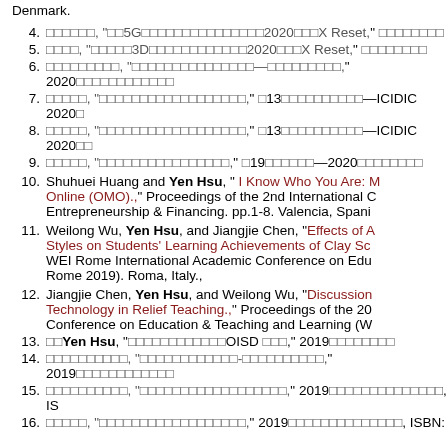Denmark.
4. [CJK], "[CJK]5G[CJK]2020[CJK]X Reset," [CJK]
5. [CJK], "[CJK]3D[CJK]2020[CJK]X Reset," [CJK]
6. [CJK], "[CJK]—[CJK]," 2020[CJK]
7. [CJK], "[CJK]," [CJK]13[CJK]—ICIDIC 2020[CJK]
8. [CJK], "[CJK]," [CJK]13[CJK]—ICIDIC 2020[CJK]
9. [CJK], "[CJK]," [CJK]19[CJK]—2020[CJK]
10. Shuhuei Huang and Yen Hsu, " I Know Who You Are: [red: Merging Online to Offline / Offline to Online (OMO).,]" Proceedings of the 2nd International Conference on Entrepreneurship & Financing. pp.1-8. Valencia, Spain.
11. Weilong Wu, Yen Hsu, and Jiangjie Chen, "Effects of Augmented Reality and Learning Styles on Students' Learning Achievements of Clay Sculpture," WEI Rome International Academic Conference on Education (WEI Rome 2019). Roma, Italy.,
12. Jiangjie Chen, Yen Hsu, and Weilong Wu, "Discussion on Application of AR Technology in Relief Teaching.," Proceedings of the 20... Conference on Education & Teaching and Learning (W...
13. [CJK]Yen Hsu, "[CJK]OISD [CJK]," 2019[CJK]
14. [CJK], "[CJK]-[CJK]," 2019[CJK]
15. [CJK], "[CJK]," 2019[CJK], IS...
16. [CJK], "[CJK]," 2019[CJK], ISBN: